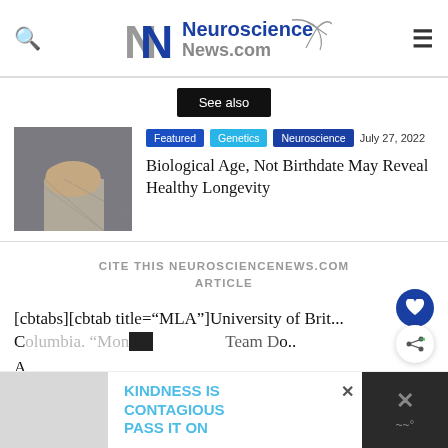Neuroscience News.com
See also
[Figure (photo): Elderly person with hands clasped on lap, wearing plaid clothing]
Featured  Genetics  Neuroscience  July 27, 2022
Biological Age, Not Birthdate May Reveal Healthy Longevity
CITE THIS NEUROSCIENCENEWS.COM ARTICLE
[cbtabs][cbtab title="MLA"]University of Brit... Columbia. "Monitoring Social Aid Team Do... A...
KINDNESS IS CONTAGIOUS PASS IT ON